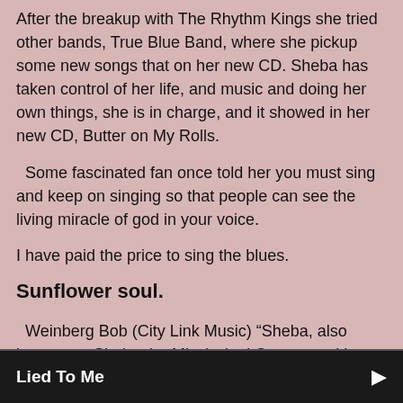After the breakup with The Rhythm Kings she tried other bands, True Blue Band, where she pickup some new songs that on her new CD. Sheba has taken control of her life, and music and doing her own things, she is in charge, and it showed in her new CD, Butter on My Rolls.
Some fascinated fan once told her you must sing and keep on singing so that people can see the living miracle of god in your voice.
I have paid the price to sing the blues.
Sunflower soul.
Weinberg Bob (City Link Music) “Sheba, also known as, Sheba the Mississippi Queen, and her band  The Soul
Lied To Me